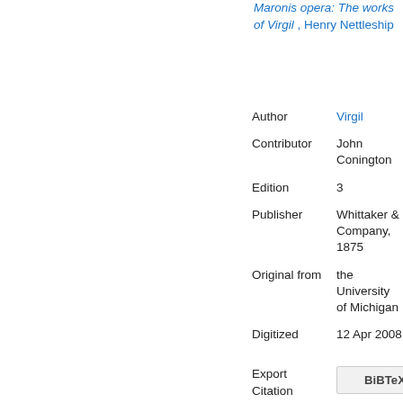Maronis opera: The works of Virgil, Henry Nettleship
| Field | Value |
| --- | --- |
| Author | Virgil |
| Contributor | John Conington |
| Edition | 3 |
| Publisher | Whittaker & Company, 1875 |
| Original from | the University of Michigan |
| Digitized | 12 Apr 2008 |
| Export Citation | BiBTeX | EndNote |